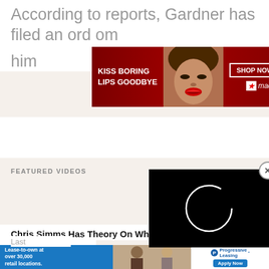According to reports, Gardner has filed an ord... from him... and his family.
[Figure (screenshot): Macy's advertisement banner: 'KISS BORING LIPS GOODBYE' with a woman's face and red lips, SHOP NOW button and Macy's star logo]
FEATURED VIDEOS
[Figure (screenshot): Embedded video player area, blank/loading]
[Figure (screenshot): Floating video player with black background and loading spinner circle, close (X) button]
Chris Simms Has Theory On Why Jon Gru...
[Figure (screenshot): CLOSE button (orange/amber) overlaid on top right of article title]
Last...
[Figure (screenshot): Bottom advertisement strip: Lease-to-own at over 30,000 retail locations (blue), photo strip, Progressive Leasing Apply Now]